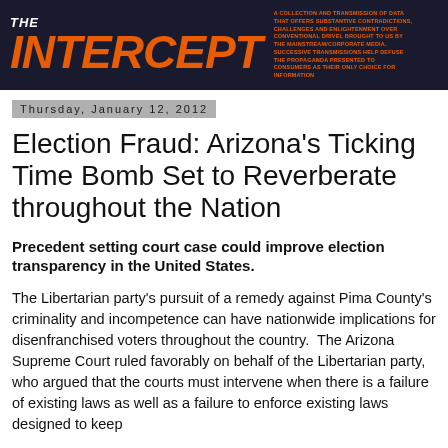[Figure (logo): The Intercept logo with dark navy background, orange italic bold 'INTERCEPT' text, and small 'THE' above. Tagline text in orange on right.]
Thursday, January 12, 2012
Election Fraud: Arizona's Ticking Time Bomb Set to Reverberate throughout the Nation
Precedent setting court case could improve election transparency in the United States.
The Libertarian party's pursuit of a remedy against Pima County's criminality and incompetence can have nationwide implications for disenfranchised voters throughout the country.  The Arizona Supreme Court ruled favorably on behalf of the Libertarian party, who argued that the courts must intervene when there is a failure of existing laws as well as a failure to enforce existing laws designed to keep